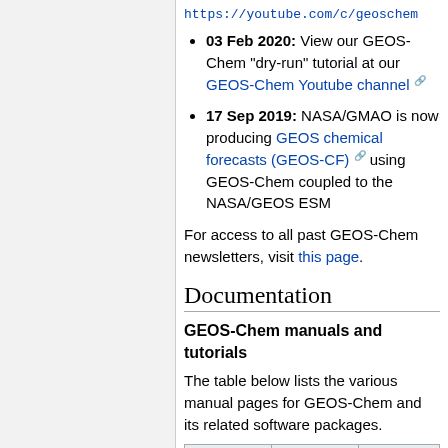https://youtube.com/c/geoschem
03 Feb 2020: View our GEOS-Chem "dry-run" tutorial at our GEOS-Chem Youtube channel
17 Sep 2019: NASA/GMAO is now producing GEOS chemical forecasts (GEOS-CF) using GEOS-Chem coupled to the NASA/GEOS ESM
For access to all past GEOS-Chem newsletters, visit this page.
Documentation
GEOS-Chem manuals and tutorials
The table below lists the various manual pages for GEOS-Chem and its related software packages.
| Item | Link | Des... |
| --- | --- | --- |